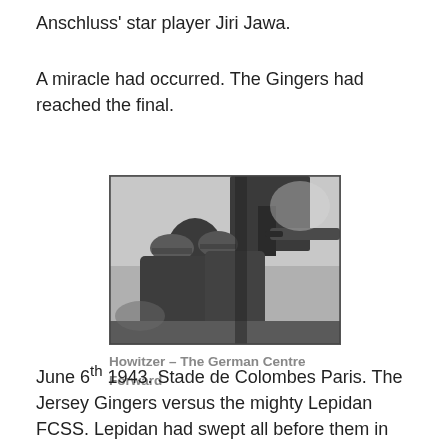Anschluss' star player Jiri Jawa.
A miracle had occurred. The Gingers had reached the final.
[Figure (photo): Black and white photograph of soldiers operating a howitzer artillery piece]
Howitzer – The German Centre Forward
June 6th 1943. Stade de Colombes Paris. The Jersey Gingers versus the mighty Lepidan FCSS. Lepidan had swept all before them in the previous rounds with ruthless